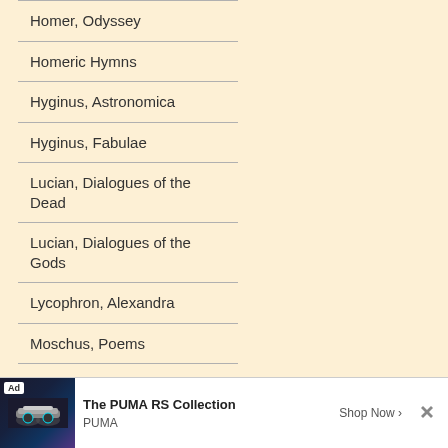Homer, Odyssey
Homeric Hymns
Hyginus, Astronomica
Hyginus, Fabulae
Lucian, Dialogues of the Dead
Lucian, Dialogues of the Gods
Lycophron, Alexandra
Moschus, Poems
Nonnus, Dionysiaca
Orphic Hymns
Ovid, Fasti